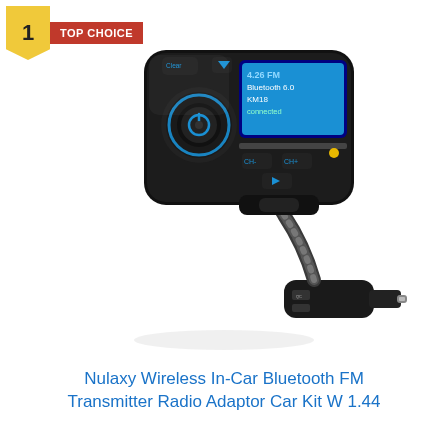[Figure (photo): Nulaxy Bluetooth FM Transmitter car kit product photo showing the device with a black gooseneck flexible arm, main unit with blue LED display showing '4.26 FM / 6.0 / Bluetooth KM18 / connected', control buttons, and a car cigarette lighter plug base with dual USB ports.]
1
TOP CHOICE
Nulaxy Wireless In-Car Bluetooth FM Transmitter Radio Adaptor Car Kit W 1.44